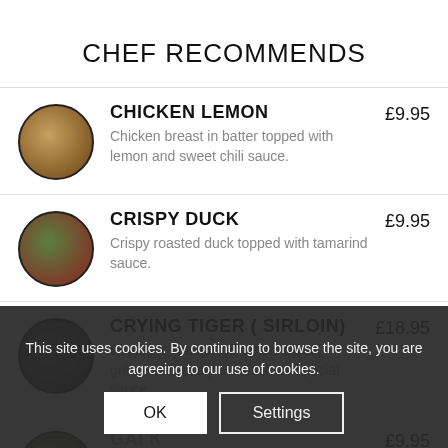CHEF RECOMMENDS
CHICKEN LEMON £9.95 — Chicken breast in batter topped with lemon and sweet chili sauce.
CRISPY DUCK £9.95 — Crispy roasted duck topped with tamarind sauce.
CRYING TIGER ( SIRLOIN) £18.95 — Boonnak Thai grilled Sirloin steak, grilled in Thai style with chefs special sauce.
GAI K... £9.95 — Boonnak Thai Roasted chicken breast
This site uses cookies. By continuing to browse the site, you are agreeing to our use of cookies.